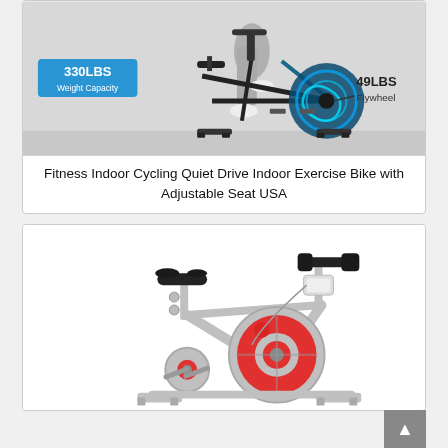[Figure (photo): A person riding a black indoor cycling/spinning exercise bike. Labels show '330LBS Weight Capacity' on the left and '49LBS Flywheel' on the right with blue swirl graphics around the flywheel.]
Fitness Indoor Cycling Quiet Drive Indoor Exercise Bike with Adjustable Seat USA
[Figure (photo): A white/grey indoor cycling exercise bike with a red flywheel cover and black seat and handlebars, shown on a white background.]